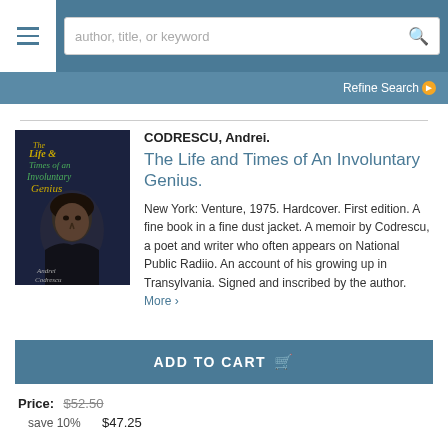author, title, or keyword | Refine Search
[Figure (screenshot): Book cover of 'The Life and Times of An Involuntary Genius' by Andrei Codrescu, showing a dark-toned photo of the author.]
CODRESCU, Andrei.
The Life and Times of An Involuntary Genius.
New York: Venture, 1975. Hardcover. First edition. A fine book in a fine dust jacket. A memoir by Codrescu, a poet and writer who often appears on National Public Radiio. An account of his growing up in Transylvania. Signed and inscribed by the author. More >
ADD TO CART
Price: $52.50
save 10%   $47.25